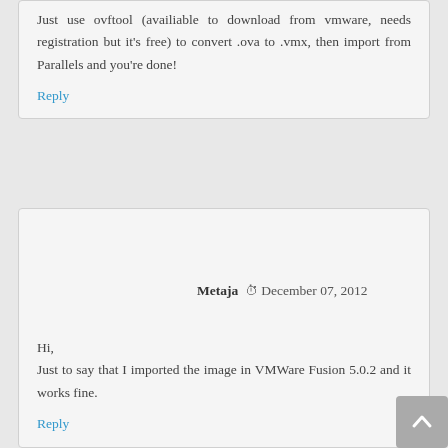Just use ovftool (availiable to download from vmware, needs registration but it's free) to convert .ova to .vmx, then import from Parallels and you're done!
Reply
Metaja  December 07, 2012
Hi,
Just to say that I imported the image in VMWare Fusion 5.0.2 and it works fine.
Reply